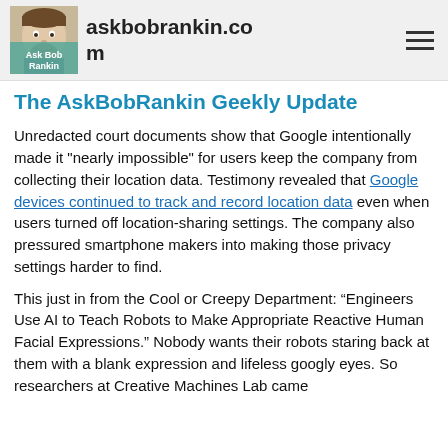askbobrankin.com
The AskBobRankin Geekly Update
Unredacted court documents show that Google intentionally made it "nearly impossible" for users keep the company from collecting their location data. Testimony revealed that Google devices continued to track and record location data even when users turned off location-sharing settings. The company also pressured smartphone makers into making those privacy settings harder to find.
This just in from the Cool or Creepy Department: “Engineers Use AI to Teach Robots to Make Appropriate Reactive Human Facial Expressions.” Nobody wants their robots staring back at them with a blank expression and lifeless googly eyes. So researchers at Creative Machines Lab came